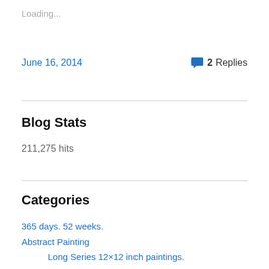Loading...
June 16, 2014
2 Replies
Blog Stats
211,275 hits
Categories
365 days. 52 weeks.
Abstract Painting
Long Series 12×12 inch paintings.
Anna's art
art